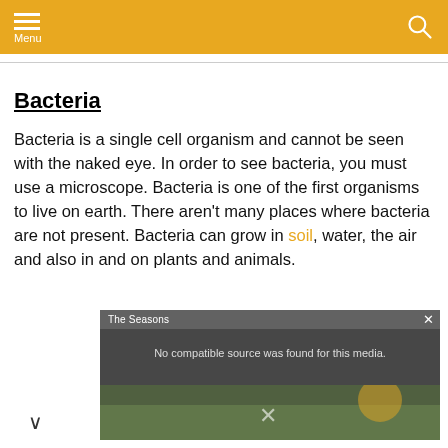Menu
Bacteria
Bacteria is a single cell organism and cannot be seen with the naked eye. In order to see bacteria, you must use a microscope. Bacteria is one of the first organisms to live on earth. There aren't many places where bacteria are not present. Bacteria can grow in soil, water, the air and also in and on plants and animals.
[Figure (screenshot): Video player overlay showing 'The Seasons' with message 'No compatible source was found for this media.']